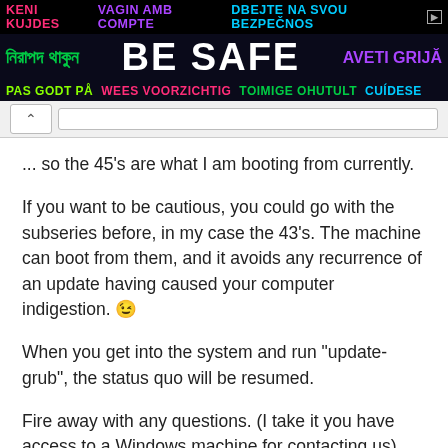[Figure (infographic): Multilingual 'BE SAFE' banner advertisement with text in multiple languages in various colors on dark background]
... so the 45's are what I am booting from currently.
If you want to be cautious, you could go with the subseries before, in my case the 43's. The machine can boot from them, and it avoids any recurrence of an update having caused your computer indigestion. 😉
When you get into the system and run "update-grub", the status quo will be resumed.
Fire away with any questions. (I take it you have access to a Windows machine for contacting us).
Cheers
Wizard